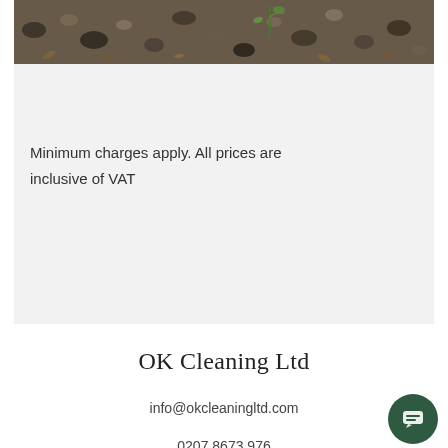[Figure (photo): Close-up photo of gravel and dirt ground with a small green plant sprout visible]
Minimum charges apply. All prices are inclusive of VAT
OK Cleaning Ltd
info@okcleaningltd.com
0207 8673 976
London, UK
© 2019 OK Cleaning Ltd. UK Company No. 09612837.